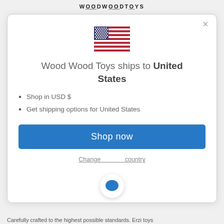WOODWOODTOYS
[Figure (illustration): US flag emoji/icon]
Wood Wood Toys ships to United States
Shop in USD $
Get shipping options for United States
Shop now
Change country
[Figure (illustration): Blue chat bubble icon]
Carefully crafted to the highest possible standards. Erzi toys